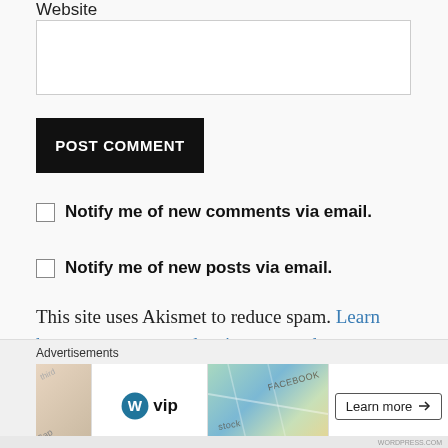Website
POST COMMENT
Notify me of new comments via email.
Notify me of new posts via email.
This site uses Akismet to reduce spam. Learn how your comment data is processed.
Advertisements
[Figure (screenshot): Advertisement banner showing WordPress VIP logo, a map image with Facebook label, and a Learn more button]